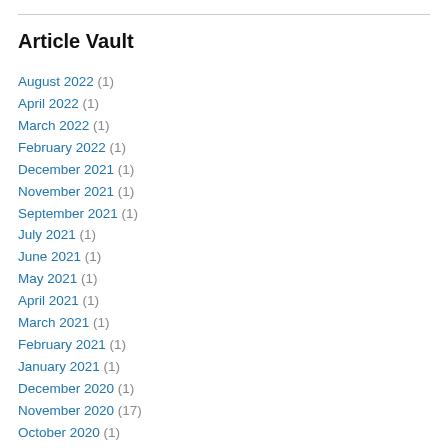Article Vault
August 2022 (1)
April 2022 (1)
March 2022 (1)
February 2022 (1)
December 2021 (1)
November 2021 (1)
September 2021 (1)
July 2021 (1)
June 2021 (1)
May 2021 (1)
April 2021 (1)
March 2021 (1)
February 2021 (1)
January 2021 (1)
December 2020 (1)
November 2020 (17)
October 2020 (1)